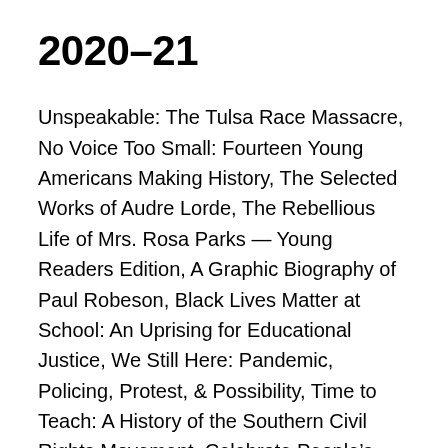2020–21
Unspeakable: The Tulsa Race Massacre, No Voice Too Small: Fourteen Young Americans Making History, The Selected Works of Audre Lorde, The Rebellious Life of Mrs. Rosa Parks — Young Readers Edition, A Graphic Biography of Paul Robeson, Black Lives Matter at School: An Uprising for Educational Justice, We Still Here: Pandemic, Policing, Protest, & Possibility, Time to Teach: A History of the Southern Civil Rights Movement, Celebrate People's History: The Poster Book of Resistance and Revolution